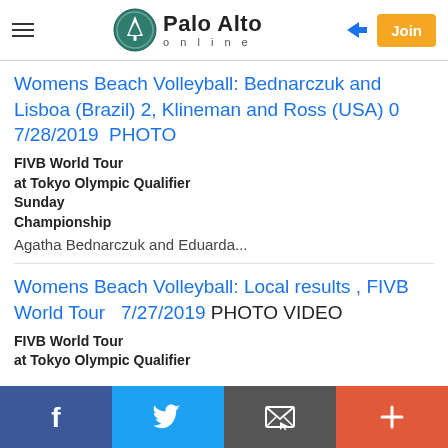Palo Alto online
Womens Beach Volleyball: Bednarczuk and Lisboa (Brazil) 2, Klineman and Ross (USA) 0   7/28/2019  PHOTO
FIVB World Tour
at Tokyo Olympic Qualifier
Sunday
Championship
Agatha Bednarczuk and Eduarda...
Womens Beach Volleyball: Local results , FIVB World Tour   7/27/2019 PHOTO VIDEO
FIVB World Tour
at Tokyo Olympic Qualifier
f  Twitter  Mail  +